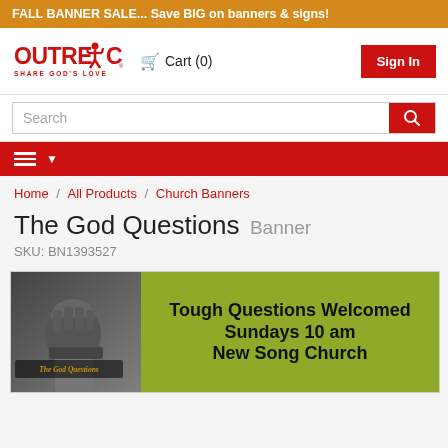FALL BANNER SALE... Save BIG on banners & signs!
[Figure (logo): Outreach logo with tagline 'Share God's Love' in red]
Cart (0)
Sign In
Search
Home / All Products / Church Banners
The God Questions Banner
SKU: BN1393527
[Figure (photo): Product image showing a church banner: left side has a person with fist raised and overlay text 'The God Questions'; right side is olive green with bold text 'Tough Questions Welcomed Sundays 10 am New Song Church']